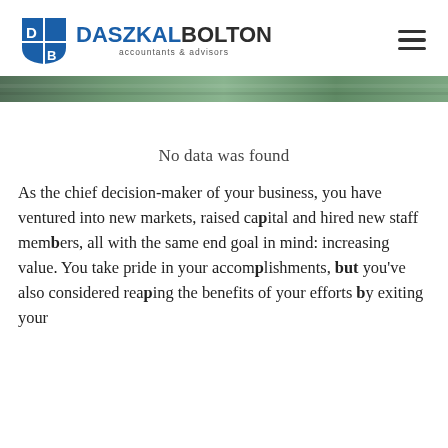DASZKAL BOLTON accountants & advisors
[Figure (illustration): Green/teal nature banner strip below the header]
No data was found
As the chief decision-maker of your business, you have ventured into new markets, raised capital and hired new staff members, all with the same end goal in mind: increasing value. You take pride in your accomplishments, but you've also considered reaping the benefits of your efforts by exiting your